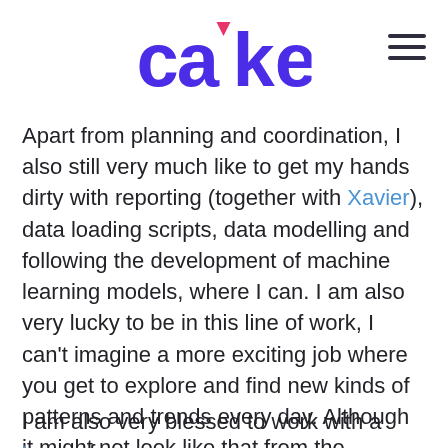cake
Apart from planning and coordination, I also still very much like to get my hands dirty with reporting (together with Xavier), data loading scripts, data modelling and following the development of machine learning models, where I can. I am also very lucky to be in this line of work, I can't imagine a more exciting job where you get to explore and find new kinds of patterns and trends every day. Although it might not look like that from the outside.
I am also very blessed to work with a team of